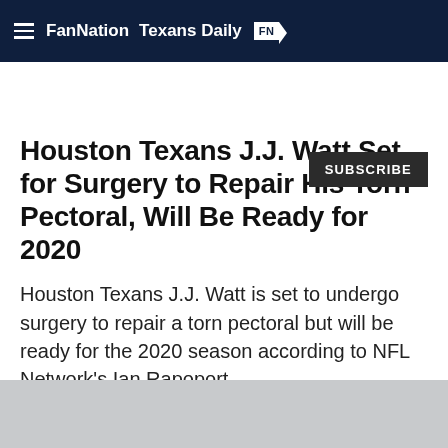FanNation  Texans Daily FN
SUBSCRIBE
Houston Texans J.J. Watt Set for Surgery to Repair His Torn Pectoral, Will Be Ready for 2020
Houston Texans J.J. Watt is set to undergo surgery to repair a torn pectoral but will be ready for the 2020 season according to NFL Network's Ian Rapoport.
PATRICK D. STARR • OCT 28, 2019 11:00 AM EDT